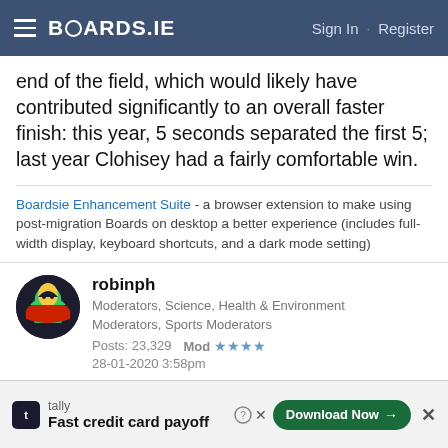BOARDS.IE  Sign In · Register
end of the field, which would likely have contributed significantly to an overall faster finish: this year, 5 seconds separated the first 5; last year Clohisey had a fairly comfortable win.
Boardsie Enhancement Suite - a browser extension to make using post-migration Boards on desktop a better experience (includes full-width display, keyboard shortcuts, and a dark mode setting)
robinph
Moderators, Science, Health & Environment
Moderators, Sports Moderators
Posts: 23,329   Mod ★★★★
28-01-2020 3:58pm
Unsurprisingly a twitter statistician didn't do very good
tally - Fast credit card payoff  Download Now